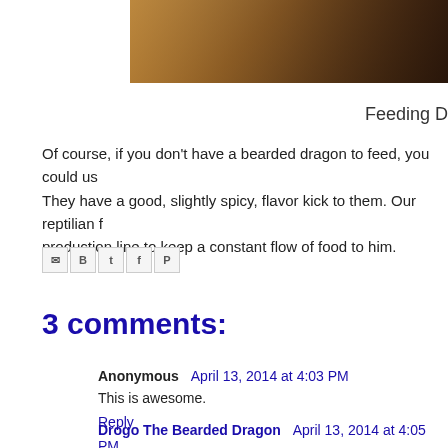[Figure (photo): Partial photo of a bearded dragon or reptile, warm brown and orange tones, cropped at top of page]
Feeding D
Of course, if you don't have a bearded dragon to feed, you could us They have a good, slightly spicy, flavor kick to them. Our reptilian f production line to keep a constant flow of food to him.
[Figure (infographic): Social share buttons: Email, BlogThis, Twitter, Facebook, Pinterest]
3 comments:
Anonymous  April 13, 2014 at 4:03 PM
This is awesome.
Reply
Drogo The Bearded Dragon  April 13, 2014 at 4:05 PM